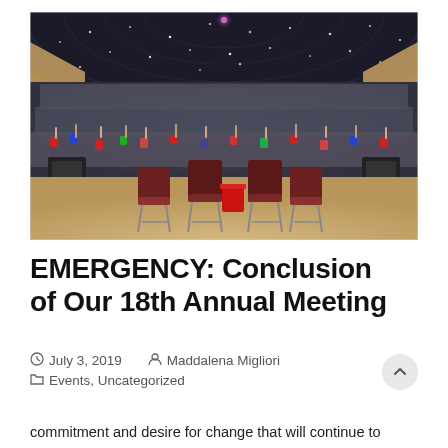[Figure (photo): Wide-angle panoramic photo of a large auditorium filled with hundreds of attendees raising their hands, taken from a stage perspective. Several empty chairs are visible on the stage in the foreground. The ceiling has star-like lighting and the venue has warm wood-toned walls.]
EMERGENCY: Conclusion of Our 18th Annual Meeting
July 3, 2019   Maddalena Migliori
Events, Uncategorized
commitment and desire for change that will continue to